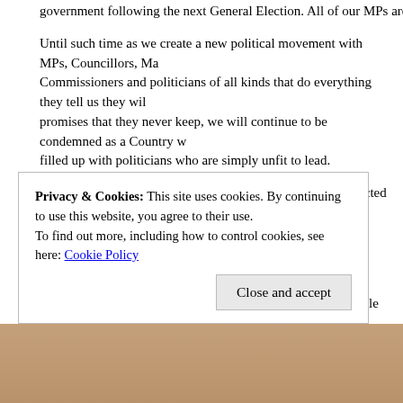government following the next General Election. All of our MPs are fundamentally...
Until such time as we create a new political movement with MPs, Councillors, Ma... Commissioners and politicians of all kinds that do everything they tell us they wil... promises that they never keep, we will continue to be condemned as a Country w... filled up with politicians who are simply unfit to lead.
Motivation will never be an issue for politicians who get elected to their public role... the intent to only do the right things.
£82,000 a year Plus expenses and the opportunity to live in London for most of th... standard of living and life experience that many normal people in the UK would n... Yet our MPs believe that they should be entitled to even more. All at a time when... that our political class is simply not fulfilling the responsibilities and requirements...
If we want change, we have to create it.
If we want change, we have to be that change ourselves.
If we want change, we have to change the way that we think and accept that the... representatives to behave differently is to begin by changing the way that we beh...
Privacy & Cookies: This site uses cookies. By continuing to use this website, you agree to their use. To find out more, including how to control cookies, see here: Cookie Policy
[Figure (photo): Bottom portion of a person's face/head, partially visible, warm skin tones]